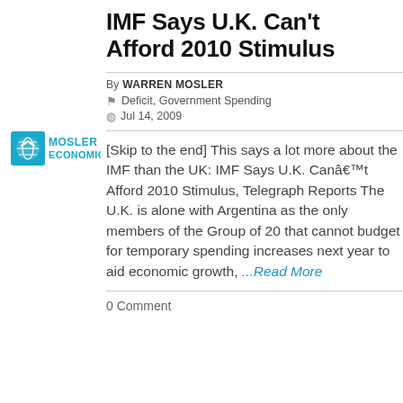[Figure (logo): Mosler Economics logo — blue globe icon with 'MOSLER ECONOMICS' text]
IMF Says U.K. Can't Afford 2010 Stimulus
By WARREN MOSLER
Deficit, Government Spending
Jul 14, 2009
[Skip to the end] This says a lot more about the IMF than the UK: IMF Says U.K. Canâ€™t Afford 2010 Stimulus, Telegraph Reports The U.K. is alone with Argentina as the only members of the Group of 20 that cannot budget for temporary spending increases next year to aid economic growth, ...Read More
0 Comment